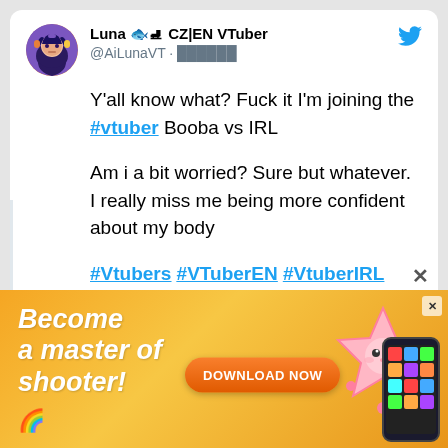Luna 🐟⛸ CZ|EN VTuber @AiLunaVT · ██████
Y'all know what? Fuck it I'm joining the #vtuber Booba vs IRL

Am i a bit worried? Sure but whatever.
I really miss me being more confident about my body

#Vtubers #VTuberEN #VtuberIRL #VTuberUprising #booba #ENVtuber
[Figure (screenshot): Mobile game advertisement banner: 'Become a master of shooter!' with DOWNLOAD NOW button and game graphics]